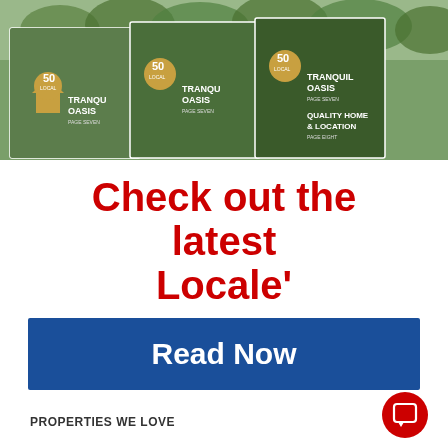[Figure (photo): Stack of magazine covers showing 'Tranquil Oasis' and 'Quality Home & Location' with 50 Years Local badge, fanned out showing three overlapping covers against a garden/hedge background]
Check out the latest Locale'
Read Now
PROPERTIES WE LOVE